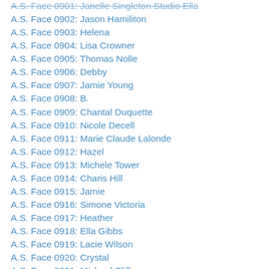A.S. Face 0901: Janelle Singleton Studio Ella
A.S. Face 0902: Jason Hamiliton
A.S. Face 0903: Helena
A.S. Face 0904: Lisa Crowner
A.S. Face 0905: Thomas Nolle
A.S. Face 0906: Debby
A.S. Face 0907: Jamie Young
A.S. Face 0908: B.
A.S. Face 0909: Chantal Duquette
A.S. Face 0910: Nicole Decell
A.S. Face 0911: Marie Claude Lalonde
A.S. Face 0912: Hazel
A.S. Face 0913: Michele Tower
A.S. Face 0914: Charis Hill
A.S. Face 0915: Jamie
A.S. Face 0916: Simone Victoria
A.S. Face 0917: Heather
A.S. Face 0918: Ella Gibbs
A.S. Face 0919: Lacie Wilson
A.S. Face 0920: Crystal
A.S. Face 0921: Michael Cliffe